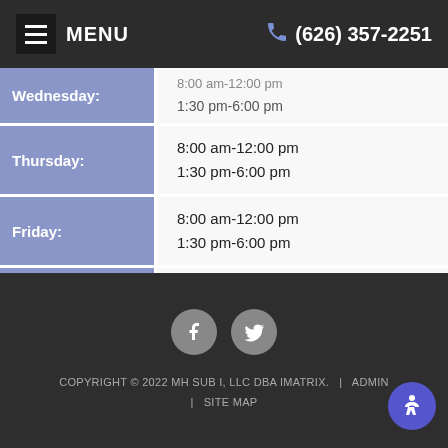MENU | (626) 357-2251
| Day | Hours |
| --- | --- |
| Wednesday: | 8:00 am-12:00 pm
1:30 pm-6:00 pm |
| Thursday: | 8:00 am-12:00 pm
1:30 pm-6:00 pm |
| Friday: | 8:00 am-12:00 pm
1:30 pm-6:00 pm |
| Saturday: | 8:00 am-2:00 pm |
| Sunday: | Closed |
COPYRIGHT © 2022 MH SUB I, LLC DBA IMATRIX.   |   ADMIN   |   SITE MAP